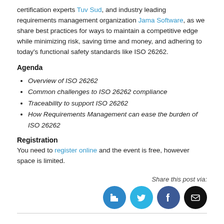certification experts Tuv Sud, and industry leading requirements management organization Jama Software, as we share best practices for ways to maintain a competitive edge while minimizing risk, saving time and money, and adhering to today's functional safety standards like ISO 26262.
Agenda
Overview of ISO 26262
Common challenges to ISO 26262 compliance
Traceability to support ISO 26262
How Requirements Management can ease the burden of ISO 26262
Registration
You need to register online and the event is free, however space is limited.
Share this post via:
[Figure (infographic): Four social media share icons: LinkedIn (blue), Twitter (light blue), Facebook (dark blue), Email (black)]